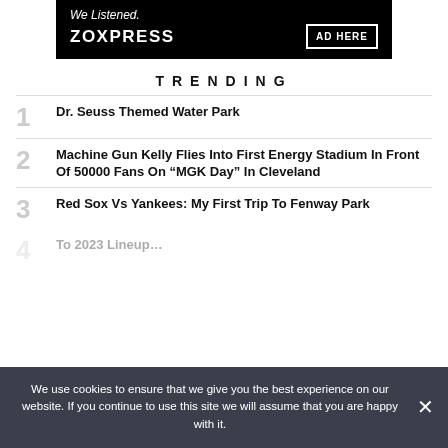[Figure (other): Advertisement banner: black background with italic 'We Listened.' text, bold 'ZOXPRESS' brand name, and 'AD HERE' button in white border box.]
TRENDING
1 Dr. Seuss Themed Water Park
2 Machine Gun Kelly Flies Into First Energy Stadium In Front Of 50000 Fans On “MGK Day” In Cleveland
3 Red Sox Vs Yankees: My First Trip To Fenway Park
4 [partially obscured] To 2023 Lineup...
We use cookies to ensure that we give you the best experience on our website. If you continue to use this site we will assume that you are happy with it.